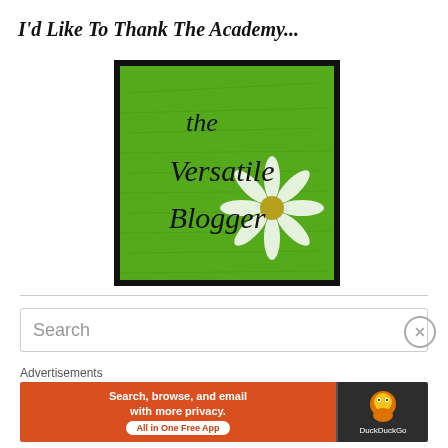I'd Like To Thank The Academy...
[Figure (illustration): The Versatile Blogger award badge — a green background with handwritten-style cursive text overlay reading 'the Versatile Blogger' and a white flower illustration in the lower-right corner, bordered by a black frame.]
Search
Advertisements
[Figure (screenshot): DuckDuckGo advertisement banner: orange background on left with text 'Search, browse, and email with more privacy. All in One Free App', and dark background on right with DuckDuckGo duck logo and brand name.]